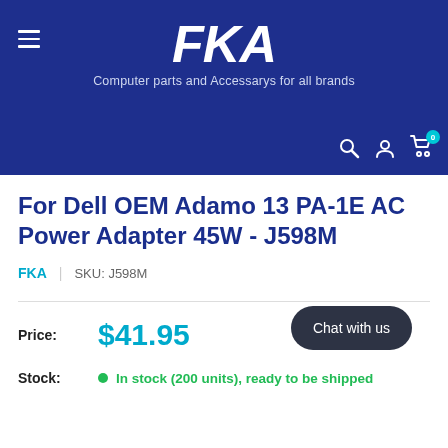[Figure (logo): FKA store header with logo, tagline, and navigation icons on dark blue background]
For Dell OEM Adamo 13 PA-1E AC Power Adapter 45W - J598M
FKA  |  SKU: J598M
Price: $41.95
Stock: In stock (200 units), ready to be shipped
Chat with us